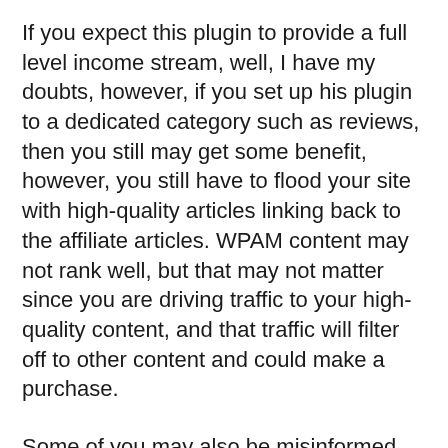If you expect this plugin to provide a full level income stream, well, I have my doubts, however, if you set up his plugin to a dedicated category such as reviews, then you still may get some benefit, however, you still have to flood your site with high-quality articles linking back to the affiliate articles. WPAM content may not rank well, but that may not matter since you are driving traffic to your high-quality content, and that traffic will filter off to other content and could make a purchase.
Some of you may also be misinformed on how “duplicate” content works, and google refers to